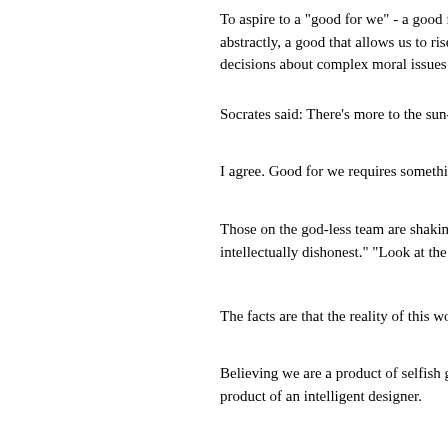To aspire to a "good for we" - a good for the abstractly, a good that allows us to rise to bec decisions about complex moral issues - Oh, t
Socrates said: There's more to the sun-lit wor
I agree. Good for we requires something so m
Those on the god-less team are shaking their intellectually dishonest." "Look at the facts."
The facts are that the reality of this world gre
Believing we are a product of selfish genes ta product of an intelligent designer.